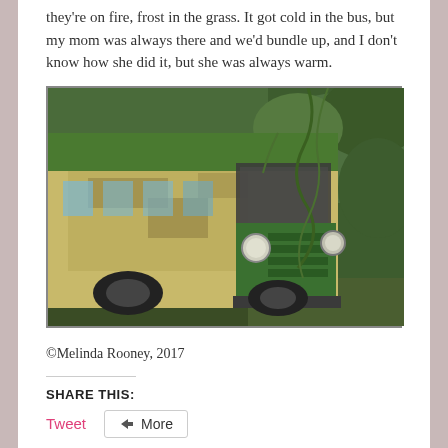they're on fire, frost in the grass. It got cold in the bus, but my mom was always there and we'd bundle up, and I don't know how she did it, but she was always warm.
[Figure (photo): An old, abandoned yellow and green school bus overgrown with vines and vegetation, photographed from a front-side angle in an outdoor setting.]
©Melinda Rooney, 2017
Share this:
Tweet   More